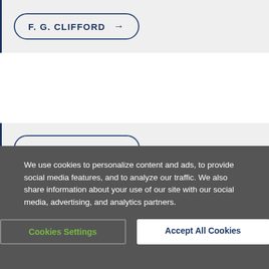F. G. CLIFFORD →
H. E. CLIFFORD →
H. E. Clifford is medical director of the Sydney Adventist Hospital.
We use cookies to personalize content and ads, to provide social media features, and to analyze our traffic. We also share information about your use of our site with our social media, advertising, and analytics partners.
Cookies Settings
Accept All Cookies